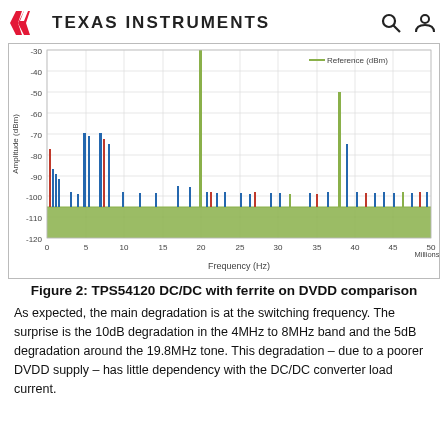Texas Instruments
[Figure (continuous-plot): Spectrum plot showing Amplitude (dBm) vs Frequency (Hz) in millions. Y-axis ranges from -120 to -30 dBm. X-axis ranges from 0 to 50 MHz. A dominant spike appears near 20 MHz reaching about -30 dBm. Elevated spikes near 5-8 MHz reaching about -90 dBm. A secondary spike near 38-40 MHz. The noise floor is around -108 to -110 dBm. Green fill represents reference (dBm), with blue and red spikes indicating other signals.]
Figure 2: TPS54120 DC/DC with ferrite on DVDD comparison
As expected, the main degradation is at the switching frequency. The surprise is the 10dB degradation in the 4MHz to 8MHz band and the 5dB degradation around the 19.8MHz tone. This degradation – due to a poorer DVDD supply – has little dependency with the DC/DC converter load current.